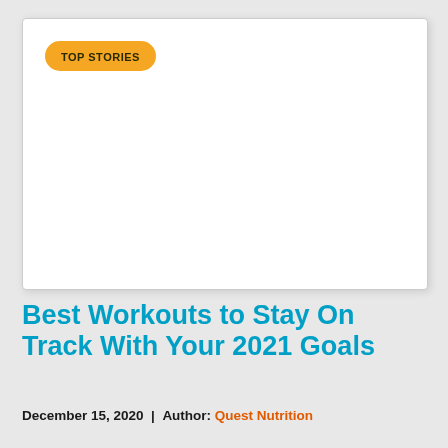[Figure (photo): White card/image placeholder with 'TOP STORIES' orange badge label in the top-left corner]
Best Workouts to Stay On Track With Your 2021 Goals
December 15, 2020  |  Author: Quest Nutrition